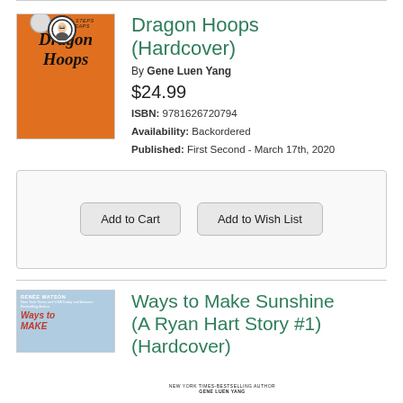[Figure (illustration): Book cover of Dragon Hoops by Gene Luen Yang, orange basketball texture background]
Dragon Hoops (Hardcover)
By Gene Luen Yang
$24.99
ISBN: 9781626720794
Availability: Backordered
Published: First Second - March 17th, 2020
Add to Cart
Add to Wish List
[Figure (illustration): Book cover of Ways to Make Sunshine by Renee Watson]
Ways to Make Sunshine (A Ryan Hart Story #1) (Hardcover)